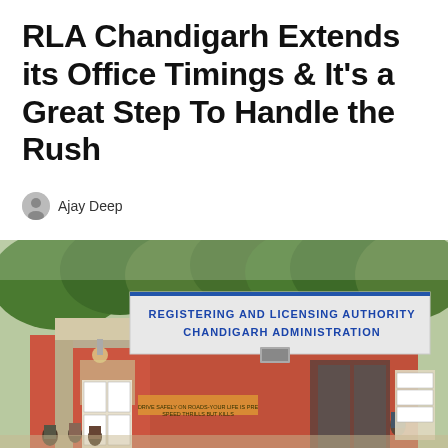RLA Chandigarh Extends its Office Timings & It's a Great Step To Handle the Rush
Ajay Deep
[Figure (photo): Photograph of the Registering and Licensing Authority, Chandigarh Administration office building exterior. The building has a red/orange facade with a large sign reading 'REGISTERING AND LICENSING AUTHORITY CHANDIGARH ADMINISTRATION'. Trees are visible in the background and people are standing near the entrance.]